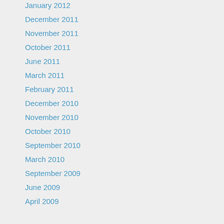January 2012
December 2011
November 2011
October 2011
June 2011
March 2011
February 2011
December 2010
November 2010
October 2010
September 2010
March 2010
September 2009
June 2009
April 2009